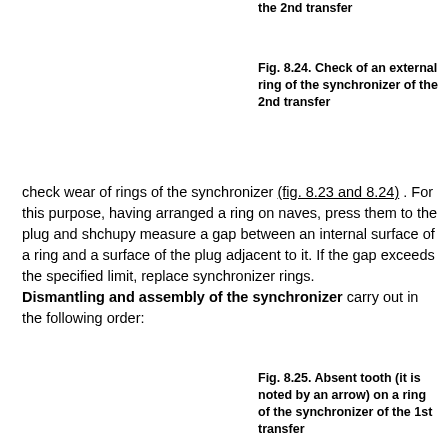the 2nd transfer
Fig. 8.24. Check of an external ring of the synchronizer of the 2nd transfer
check wear of rings of the synchronizer (fig. 8.23 and 8.24) . For this purpose, having arranged a ring on naves, press them to the plug and shchupy measure a gap between an internal surface of a ring and a surface of the plug adjacent to it. If the gap exceeds the specified limit, replace synchronizer rings. Dismantling and assembly of the synchronizer carry out in the following order:
Fig. 8.25. Absent tooth (it is noted by an arrow) on a ring of the synchronizer of the 1st transfer